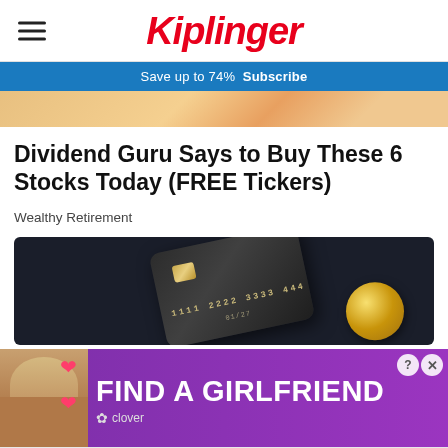Kiplinger
Save up to 74%  Subscribe
[Figure (photo): Partial top image showing colorful background, cropped at top]
Dividend Guru Says to Buy These 6 Stocks Today (FREE Tickers)
Wealthy Retirement
[Figure (photo): Dark background with a black credit card showing numbers 1111 2222 3333 444x and expiry 01/27, with gold coin/medal partially visible on the right]
[Figure (photo): Purple advertisement banner reading FIND A GIRLFRIEND with a woman photo on the left, pink hearts, and Clover logo at bottom. Close buttons (? and X) in top right corner.]